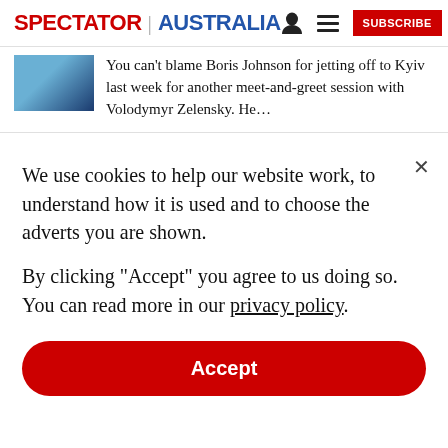SPECTATOR | AUSTRALIA
You can't blame Boris Johnson for jetting off to Kyiv last week for another meet-and-greet session with Volodymyr Zelensky. He…
We use cookies to help our website work, to understand how it is used and to choose the adverts you are shown.
By clicking "Accept" you agree to us doing so. You can read more in our privacy policy.